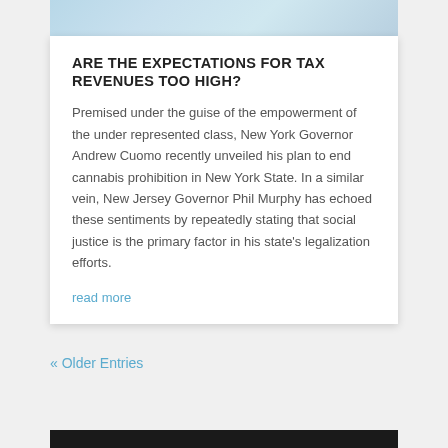[Figure (illustration): Partial view of a light blue illustrated map or graphic at the top of a card]
ARE THE EXPECTATIONS FOR TAX REVENUES TOO HIGH?
Premised under the guise of the empowerment of the under represented class, New York Governor Andrew Cuomo recently unveiled his plan to end cannabis prohibition in New York State. In a similar vein, New Jersey Governor Phil Murphy has echoed these sentiments by repeatedly stating that social justice is the primary factor in his state's legalization efforts.
read more
« Older Entries